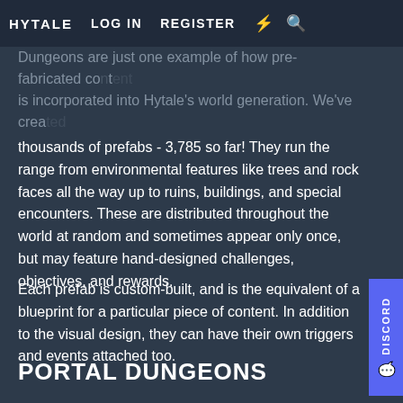HYTALE   LOG IN   REGISTER
Dungeons are just one example of how pre-fabricated content is incorporated into Hytale's world generation. We've created thousands of prefabs - 3,785 so far! They run the range from environmental features like trees and rock faces all the way up to ruins, buildings, and special encounters. These are distributed throughout the world at random and sometimes appear only once, but may feature hand-designed challenges, objectives, and rewards.
Each prefab is custom-built, and is the equivalent of a blueprint for a particular piece of content. In addition to the visual design, they can have their own triggers and events attached too.
PORTAL DUNGEONS